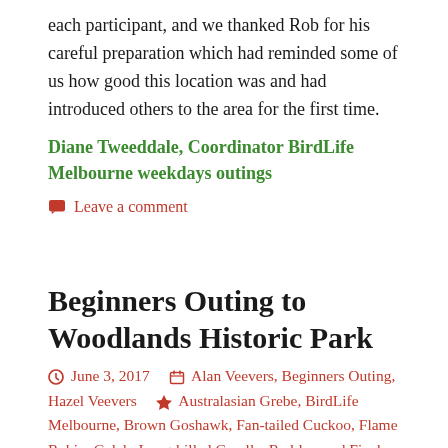each participant, and we thanked Rob for his careful preparation which had reminded some of us how good this location was and had introduced others to the area for the first time.
Diane Tweeddale, Coordinator BirdLife Melbourne weekdays outings
Leave a comment
Beginners Outing to Woodlands Historic Park
June 3, 2017   Alan Veevers, Beginners Outing, Hazel Veevers   Australasian Grebe, BirdLife Melbourne, Brown Goshawk, Fan-tailed Cuckoo, Flame Robin, Galah, Long-billed Corella, Red-browed Finch, Red-capped Robin, Red-rumped Parrot, Superb Fairy-wren, Woodlands Historic Park